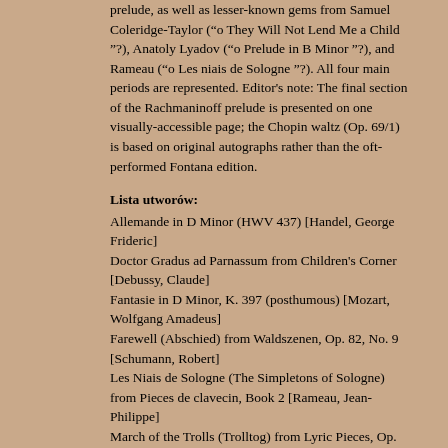prelude, as well as lesser-known gems from Samuel Coleridge-Taylor ("o They Will Not Lend Me a Child "?), Anatoly Lyadov ("o Prelude in B Minor "?), and Rameau ("o Les niais de Sologne "?). All four main periods are represented. Editor's note: The final section of the Rachmaninoff prelude is presented on one visually-accessible page; the Chopin waltz (Op. 69/1) is based on original autographs rather than the oft-performed Fontana edition.
Lista utworów:
Allemande in D Minor (HWV 437) [Handel, George Frideric]
Doctor Gradus ad Parnassum from Children's Corner [Debussy, Claude]
Fantasie in D Minor, K. 397 (posthumous) [Mozart, Wolfgang Amadeus]
Farewell (Abschied) from Waldszenen, Op. 82, No. 9 [Schumann, Robert]
Les Niais de Sologne (The Simpletons of Sologne) from Pieces de clavecin, Book 2 [Rameau, Jean-Philippe]
March of the Trolls (Trolltog) from Lyric Pieces, Op. 54, No. 3 [Greig, Edvard]
Prelude in B Minor from Trois morceaux, Op. 11, No. 1 [Lyadov, Anatoly]
Prelude in C-sharp Major from The Well-Tempered Clavier, BWV 848 [Bach, Johann